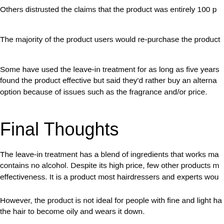Others distrusted the claims that the product was entirely 100 p
The majority of the product users would re-purchase the product
Some have used the leave-in treatment for as long as five years found the product effective but said they'd rather buy an alterna option because of issues such as the fragrance and/or price.
Final Thoughts
The leave-in treatment has a blend of ingredients that works ma contains no alcohol. Despite its high price, few other products m effectiveness. It is a product most hairdressers and experts wou
However, the product is not ideal for people with fine and light ha the hair to become oily and wears it down.